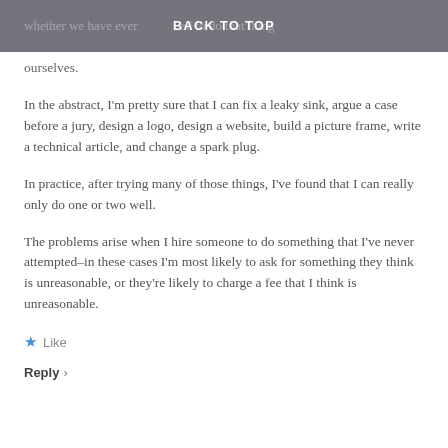BACK TO TOP
whether we have ever attempted to do that thing ourselves.
In the abstract, I'm pretty sure that I can fix a leaky sink, argue a case before a jury, design a logo, design a website, build a picture frame, write a technical article, and change a spark plug.
In practice, after trying many of those things, I've found that I can really only do one or two well.
The problems arise when I hire someone to do something that I've never attempted–in these cases I'm most likely to ask for something they think is unreasonable, or they're likely to charge a fee that I think is unreasonable.
★ Like
Reply ›